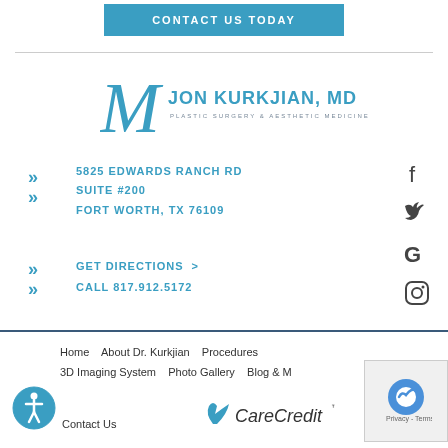CONTACT US TODAY
[Figure (logo): Jon Kurkjian MD Plastic Surgery & Aesthetic Medicine logo with script M initial]
5825 EDWARDS RANCH RD
SUITE #200
FORT WORTH, TX 76109
GET DIRECTIONS >
CALL 817.912.5172
[Figure (other): Social media icons: Facebook, Twitter, Google, Instagram]
Home   About Dr. Kurkjian   Procedures   3D Imaging System   Photo Gallery   Blog & M...   Contact Us
[Figure (logo): CareCredit logo]
[Figure (other): Accessibility icon (wheelchair symbol in blue circle)]
[Figure (other): Privacy - Terms reCAPTCHA badge]